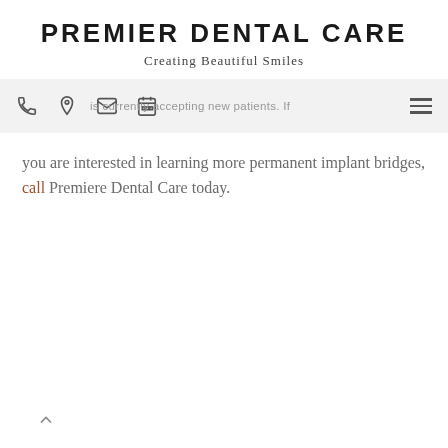PREMIER DENTAL CARE
Creating Beautiful Smiles
[Figure (other): Navigation bar with phone, location, email, and calendar icons on the left, hamburger menu on the right, with overlay text: 'is currently accepting new patients. If']
you are interested in learning more permanent implant bridges, call Premiere Dental Care today.